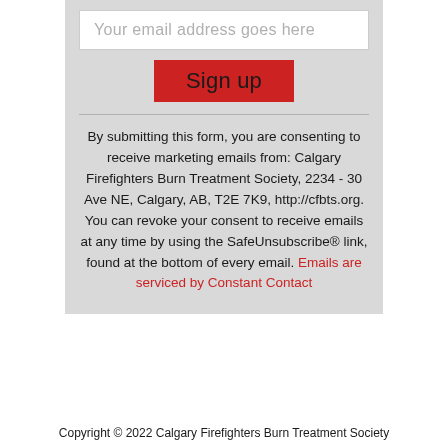Your email address goes here
Sign up
By submitting this form, you are consenting to receive marketing emails from: Calgary Firefighters Burn Treatment Society, 2234 - 30 Ave NE, Calgary, AB, T2E 7K9, http://cfbts.org. You can revoke your consent to receive emails at any time by using the SafeUnsubscribe® link, found at the bottom of every email. Emails are serviced by Constant Contact
Copyright © 2022 Calgary Firefighters Burn Treatment Society